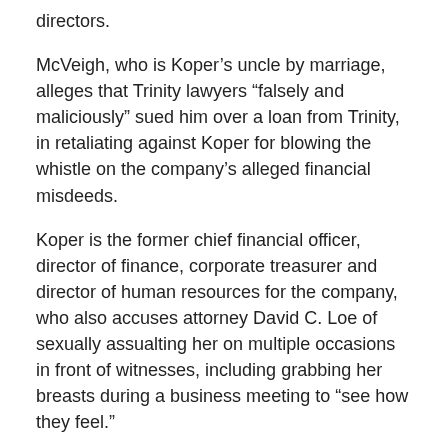directors.
McVeigh, who is Koper’s uncle by marriage, alleges that Trinity lawyers “falsely and maliciously” sued him over a loan from Trinity, in retaliating against Koper for blowing the whistle on the company’s alleged financial misdeeds.
Koper is the former chief financial officer, director of finance, corporate treasurer and director of human resources for the company, who also accuses attorney David C. Loe of sexually assualting her on multiple occasions in front of witnesses, including grabbing her breasts during a business meeting to “see how they feel.”
Koper claims she was fired for calling foul on the alleged illegal activity. McVeigh alleges that at one point, Paul Crouch informed Koper and her husband that Jan and son Matthew Crouch “want your heads”, referring to the